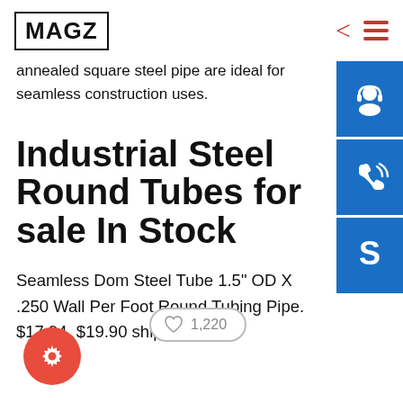MAGZ
annealed square steel pipe are ideal for seamless construction uses.
Industrial Steel Round Tubes for sale In Stock
Seamless Dom Steel Tube 1.5" OD X .250 Wall Per Foot Round Tubing Pipe. $17.94. $19.90 shipping.
[Figure (infographic): Like/heart button showing 1,220 likes, and a red circular settings gear button]
[Figure (infographic): Three blue square icon buttons on right side: headset/support icon, phone with signal icon, Skype S icon]